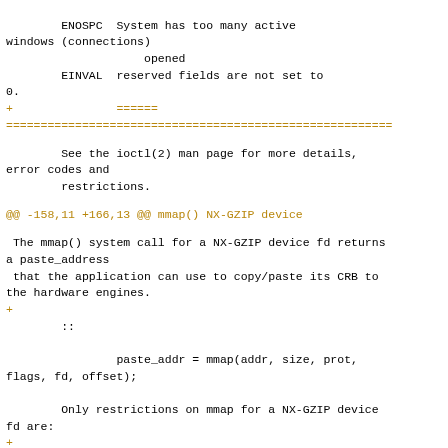ENOSPC  System has too many active windows (connections)
                    opened
        EINVAL  reserved fields are not set to 0.
+               ======
========================================================
See the ioctl(2) man page for more details, error codes and
        restrictions.
@@ -158,11 +166,13 @@ mmap() NX-GZIP device
The mmap() system call for a NX-GZIP device fd returns a paste_address
 that the application can use to copy/paste its CRB to the hardware engines.
+
        ::

                paste_addr = mmap(addr, size, prot, flags, fd, offset);

        Only restrictions on mmap for a NX-GZIP device fd are:
+
                * size should be PAGE_SIZE
                * offset parameter should be 0ULL
@@ -170,10 +180,12 @@ that the application can use to